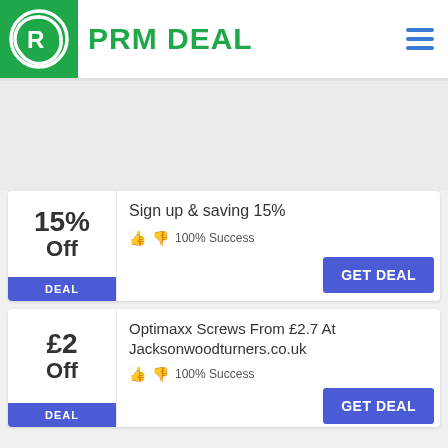PRM DEAL
15% Off
Sign up & saving 15%
100% Success
GET DEAL
£2 Off
Optimaxx Screws From £2.7 At Jacksonwoodturners.co.uk
100% Success
GET DEAL